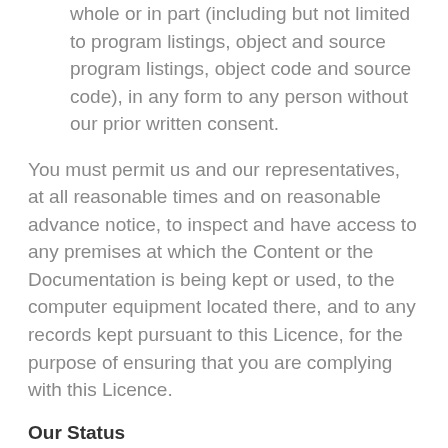whole or in part (including but not limited to program listings, object and source program listings, object code and source code), in any form to any person without our prior written consent.
You must permit us and our representatives, at all reasonable times and on reasonable advance notice, to inspect and have access to any premises at which the Content or the Documentation is being kept or used, to the computer equipment located there, and to any records kept pursuant to this Licence, for the purpose of ensuring that you are complying with this Licence.
Our Status
We may provide links on our site to the websites of other companies, whether affiliated with us or not. We cannot give any undertaking, that products you